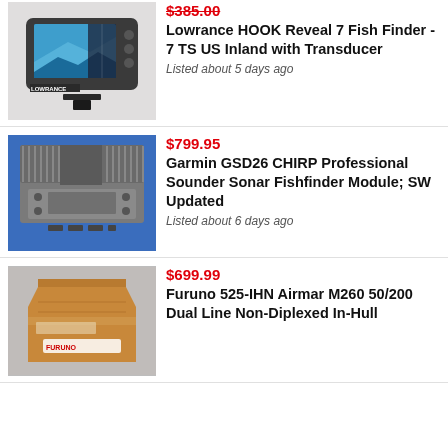[Figure (photo): Lowrance HOOK Reveal 7 fish finder device on white background]
$385.00
Lowrance HOOK Reveal 7 Fish Finder - 7 TS US Inland with Transducer
Listed about 5 days ago
[Figure (photo): Garmin GSD26 CHIRP Professional Sounder module on blue background]
$799.95
Garmin GSD26 CHIRP Professional Sounder Sonar Fishfinder Module; SW Updated
Listed about 6 days ago
[Figure (photo): Furuno 525-IHN Airmar M260 product in brown cardboard box]
$699.99
Furuno 525-IHN Airmar M260 50/200 Dual Line Non-Diplexed In-Hull